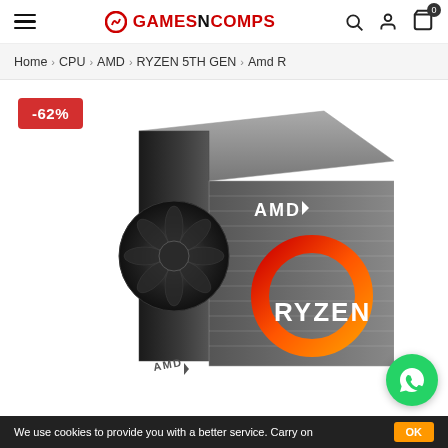GAMESNCOMPS
Home > CPU > AMD > RYZEN 5TH GEN > Amd R
[Figure (photo): AMD Ryzen 5th Gen CPU product box with Ryzen logo and AMD fan, showing -62% discount badge]
We use cookies to provide you with a better service. Carry on